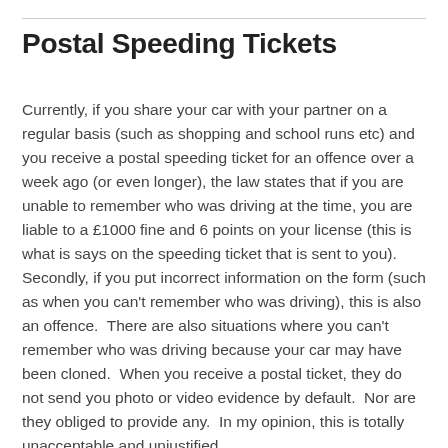Postal Speeding Tickets
Currently, if you share your car with your partner on a regular basis (such as shopping and school runs etc) and you receive a postal speeding ticket for an offence over a week ago (or even longer), the law states that if you are unable to remember who was driving at the time, you are liable to a £1000 fine and 6 points on your license (this is what is says on the speeding ticket that is sent to you). Secondly, if you put incorrect information on the form (such as when you can't remember who was driving), this is also an offence.  There are also situations where you can't remember who was driving because your car may have been cloned.  When you receive a postal ticket, they do not send you photo or video evidence by default.  Nor are they obliged to provide any.  In my opinion, this is totally unacceptable and unjustified.